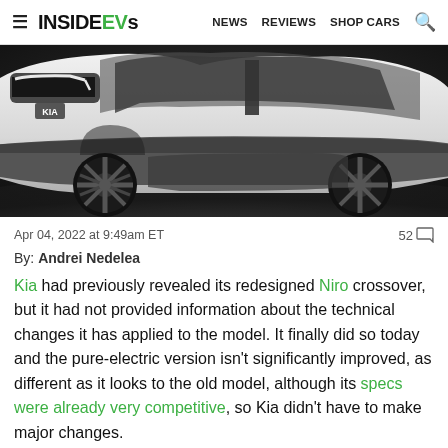≡ INSIDEEVS | NEWS  REVIEWS  SHOP CARS  🔍
[Figure (photo): Close-up photo of a white Kia Niro EV crossover showing the front headlights, wheel arch, side body, and a large black alloy wheel, set against a dark studio background.]
Apr 04, 2022 at 9:49am ET    52 💬
By: Andrei Nedelea
Kia had previously revealed its redesigned Niro crossover, but it had not provided information about the technical changes it has applied to the model. It finally did so today and the pure-electric version isn't significantly improved, as different as it looks to the old model, although its specs were already very competitive, so Kia didn't have to make major changes.